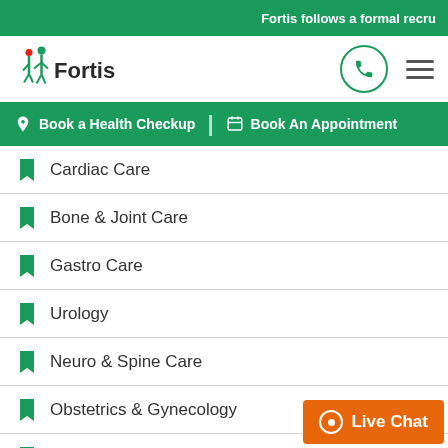Fortis follows a formal recru
[Figure (logo): Fortis Healthcare logo with two human figures and red dot]
Book a Health Checkup | Book An Appointment
Cardiac Care
Bone & Joint Care
Gastro Care
Urology
Neuro & Spine Care
Obstetrics & Gynecology
Liver Care
Oncology